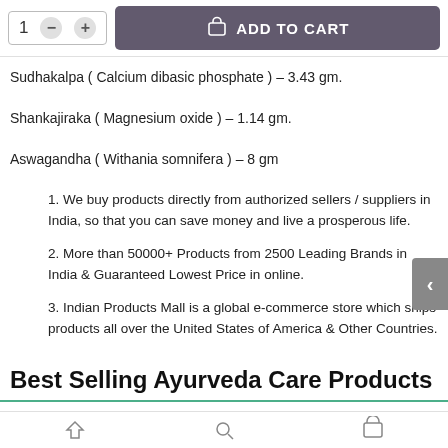[Figure (screenshot): Add to cart UI with quantity selector showing '1', minus and plus buttons, and a purple 'ADD TO CART' button with shopping bag icon]
Sudhakalpa ( Calcium dibasic phosphate ) - 3.43 gm.
Shankajiraka ( Magnesium oxide ) - 1.14 gm.
Aswagandha ( Withania somnifera ) - 8 gm
1. We buy products directly from authorized sellers / suppliers in India, so that you can save money and live a prosperous life.
2. More than 50000+ Products from 2500 Leading Brands in India & Guaranteed Lowest Price in online.
3. Indian Products Mall is a global e-commerce store which ships products all over the United States of America & Other Countries.
Best Selling Ayurveda Care Products